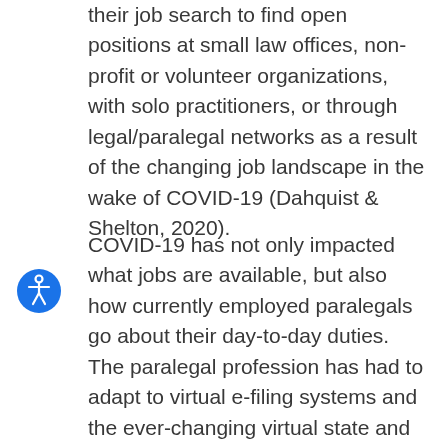their job search to find open positions at small law offices, non-profit or volunteer organizations, with solo practitioners, or through legal/paralegal networks as a result of the changing job landscape in the wake of COVID-19 (Dahquist & Shelton, 2020).
COVID-19 has not only impacted what jobs are available, but also how currently employed paralegals go about their day-to-day duties. The paralegal profession has had to adapt to virtual e-filing systems and the ever-changing virtual state and federal hearing systems. Paralegals are now learning new filing systems as several states are expanding the electronic filing systems for the courts. Paralegals are also being asked to help in filing emergency